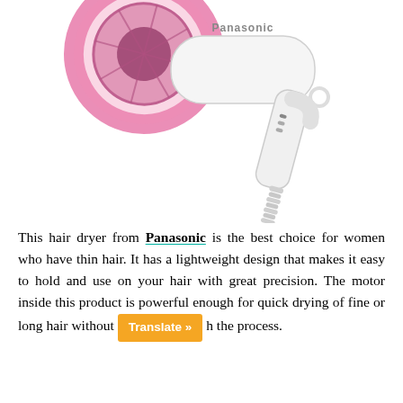[Figure (photo): A white and pink Panasonic hair dryer shown at an angle. The dryer has a pink circular diffuser/nozzle attachment on the left and a white body with controls. The handle has a coiled cord at the bottom. The Panasonic logo is visible on the body.]
This hair dryer from Panasonic is the best choice for women who have thin hair. It has a lightweight design that makes it easy to hold and use on your hair with great precision. The motor inside this product is powerful enough for quick drying of fine or long hair without [Translate »] h the process.